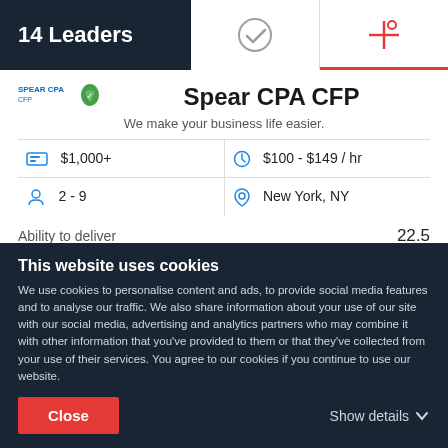14 Leaders
Spear CPA CFP
We make your business life easier.
|  | Value |  | Value |
| --- | --- | --- | --- |
| [project icon] | $1,000+ | [clock icon] | $100 - $149 / hr |
| [person icon] | 2 - 9 | [location icon] | New York, NY |
Ability to deliver	22.5
[Figure (bar-chart): Ability to deliver]
This website uses cookies
We use cookies to personalise content and ads, to provide social media features and to analyse our traffic. We also share information about your use of our site with our social media, advertising and analytics partners who may combine it with other information that you've provided to them or that they've collected from your use of their services. You agree to our cookies if you continue to use our website.
Close
Show details